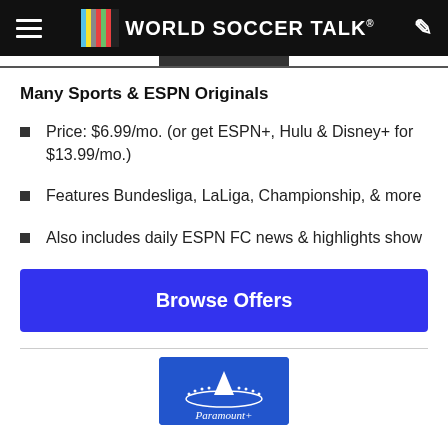World Soccer Talk
Many Sports & ESPN Originals
Price: $6.99/mo. (or get ESPN+, Hulu & Disney+ for $13.99/mo.)
Features Bundesliga, LaLiga, Championship, & more
Also includes daily ESPN FC news & highlights show
Browse Offers
[Figure (logo): Paramount+ logo on blue background, partially visible at bottom of page]